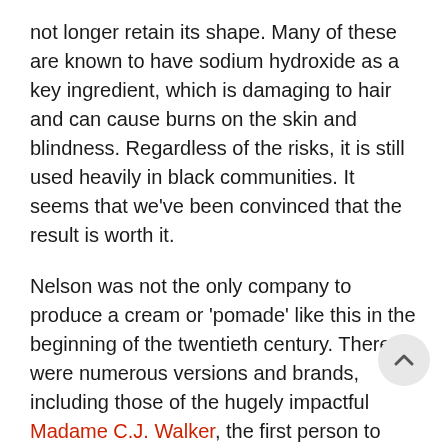not longer retain its shape. Many of these are known to have sodium hydroxide as a key ingredient, which is damaging to hair and can cause burns on the skin and blindness. Regardless of the risks, it is still used heavily in black communities. It seems that we've been convinced that the result is worth it.
Nelson was not the only company to produce a cream or 'pomade' like this in the beginning of the twentieth century. There were numerous versions and brands, including those of the hugely impactful Madame C.J. Walker, the first person to bring black hair care into mainstream consumerism. In these, the language differed and became more overt, even with the clear similarity in purpose. In an ad produced by a company called Herolin, the target audience is asserted bluntly through the use of sentences that detail how the pomade will "[cause] nappy, coarse, stubborn, kinky or